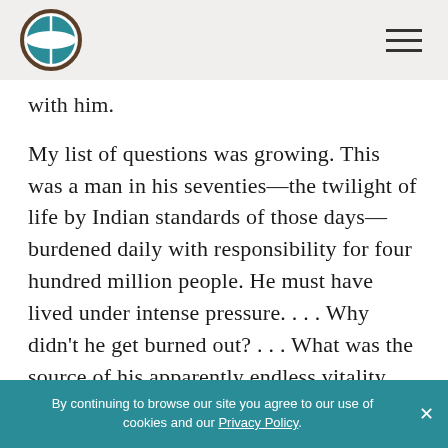[Logo: globe icon] [Hamburger menu]
with him.
My list of questions was growing. This was a man in his seventies—the twilight of life by Indian standards of those days—burdened daily with responsibility for four hundred million people. He must have lived under intense pressure. . . . Why didn't he get burned out? . . . What was the source of his apparently endless vitality and good humor?
After the walk it was time for Gandhi's
By continuing to browse our site you agree to our use of cookies and our Privacy Policy.  ×